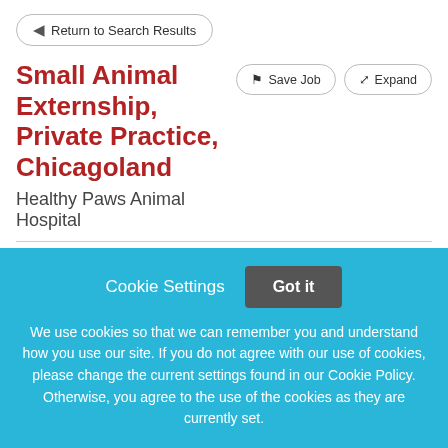Return to Search Results
Small Animal Externship, Private Practice, Chicagoland
Healthy Paws Animal Hospital
[Figure (infographic): Social share icons row: red icon, Facebook, Twitter, LinkedIn, Plus, Mail, Print]
APPLY NOW
Cookie Settings
Got it
We use cookies so that we can remember you and understand how you use our site. If you do not agree with our use of cookies, please change the current settings found in our Cookie Policy. Otherwise, you agree to the use of the cookies as they are currently set.